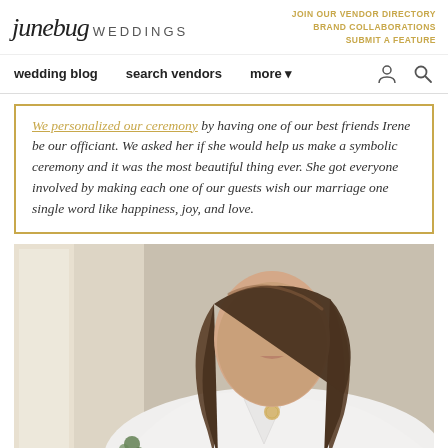junebug WEDDINGS | JOIN OUR VENDOR DIRECTORY BRAND COLLABORATIONS SUBMIT A FEATURE
wedding blog   search vendors   more
We personalized our ceremony by having one of our best friends Irene be our officiant. We asked her if she would help us make a symbolic ceremony and it was the most beautiful thing ever. She got everyone involved by making each one of our guests wish our marriage one single word like happiness, joy, and love.
[Figure (photo): Close-up portrait of a bride with wavy brunette hair wearing a white blazer and gold coin necklace, photographed indoors near a window]